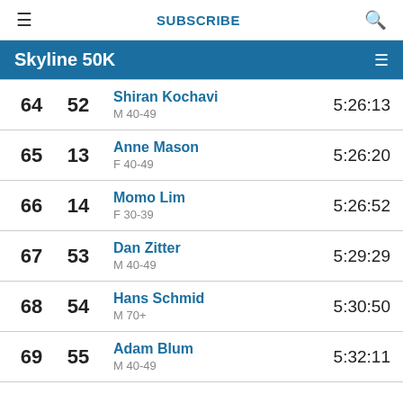SUBSCRIBE
Skyline 50K
| Overall | Gender | Name / Division | Time |
| --- | --- | --- | --- |
| 64 | 52 | Shiran Kochavi
M 40-49 | 5:26:13 |
| 65 | 13 | Anne Mason
F 40-49 | 5:26:20 |
| 66 | 14 | Momo Lim
F 30-39 | 5:26:52 |
| 67 | 53 | Dan Zitter
M 40-49 | 5:29:29 |
| 68 | 54 | Hans Schmid
M 70+ | 5:30:50 |
| 69 | 55 | Adam Blum
M 40-49 | 5:32:11 |